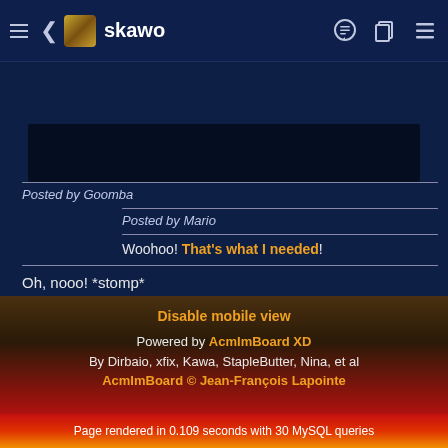skawo
[Figure (screenshot): Dark image/thumbnail placeholder at top of forum post content]
Posted by Goomba
Posted by Mario
Woohoo! That's what I needed!
Oh, nooo! *stomp*
Well, what more could you want to know? Perhaps how to do the classic infinite loop?
Disable mobile view
Powered by AcmImBoard XD
By Dirbaio, xfix, Kawa, StapleButter, Nina, et al
AcmImBoard © Jean-François Lapointe
Page rendered in 0.109 seconds with 30 MySQL queries